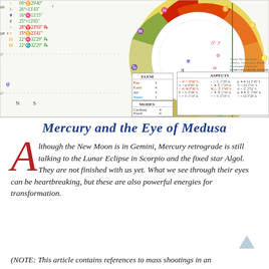[Figure (other): Astrological natal chart wheel with planetary positions, aspects table, elements table, and modes table. Shows zodiac wheel with planets in Gemini, Scorpio and other signs. Aspect grid shows various planetary aspects including conjunctions, squares, trines, etc.]
Mercury and the Eye of Medusa
Although the New Moon is in Gemini, Mercury retrograde is still talking to the Lunar Eclipse in Scorpio and the fixed star Algol. They are not finished with us yet. What we see through their eyes can be heartbreaking, but these are also powerful energies for transformation.
(NOTE: This article contains references to mass shootings in an